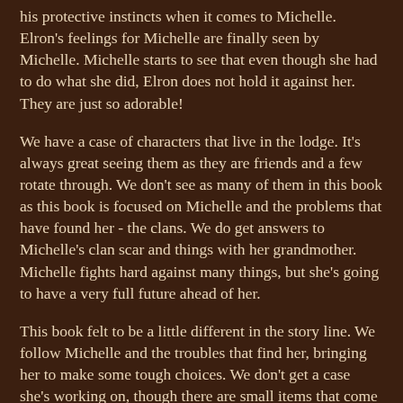his protective instincts when it comes to Michelle. Elron's feelings for Michelle are finally seen by Michelle. Michelle starts to see that even though she had to do what she did, Elron does not hold it against her. They are just so adorable!
We have a case of characters that live in the lodge. It's always great seeing them as they are friends and a few rotate through. We don't see as many of them in this book as this book is focused on Michelle and the problems that have found her - the clans. We do get answers to Michelle's clan scar and things with her grandmother. Michelle fights hard against many things, but she's going to have a very full future ahead of her.
This book felt to be a little different in the story line. We follow Michelle and the troubles that find her, bringing her to make some tough choices. We don't get a case she's working on, though there are small items that come up she tends to. This is mostly Michelle learning about herself and growing. The story still has the same action and full of spell being thrown around, but it's about Michelle this time and not just helping others.
There are more books in the series with Michelle. I'm looking